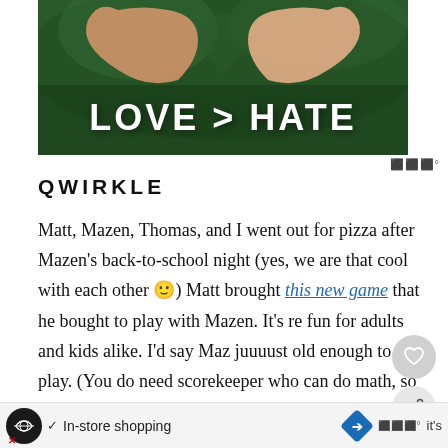[Figure (photo): Hands forming a heart shape against a dark green background with bold white text reading LOVE > HATE]
QWIRKLE
Matt, Mazen, Thomas, and I went out for pizza after Mazen’s back-to-school night (yes, we are that cool with each other 🙂) Matt brought this new game that he bought to play with Mazen. It’s re fun for adults and kids alike. I’d say Maz juuuust old enough to play. (You do need scorekeeper who can do math, so maybe not ideal fo
[Figure (screenshot): Ad banner with In-store shopping text and navigation icons]